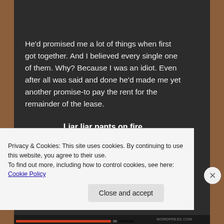He'd promised me a lot of things when first got together.  And I believed every single one of them.  Why?  Because I was an idiot.  Even after all was said and done he'd made me yet another promise-to pay the rent for the remainder of the lease.
Liar liar pants on fire.
I guess I should have saw that one coming.
I had so little money then.  I was but a broke artist,
Privacy & Cookies: This site uses cookies. By continuing to use this website, you agree to their use.
To find out more, including how to control cookies, see here: Cookie Policy